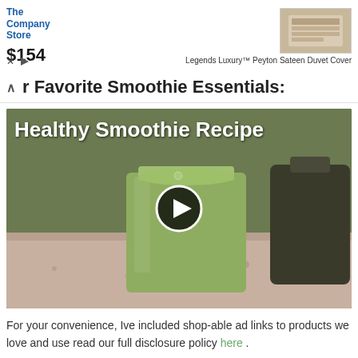[Figure (screenshot): Advertisement banner for The Company Store showing bedding product 'Legends Luxury™ Peyton Sateen Duvet Cover' priced at $154, with a product image on the right side]
r Favorite Smoothie Essentials:
[Figure (screenshot): Video thumbnail showing a green smoothie in a mason jar on a countertop with text 'Healthy Smoothie Recipe' and a play button overlay]
For your convenience, Ive included shop-able ad links to products we love and use read our full disclosure policy here .